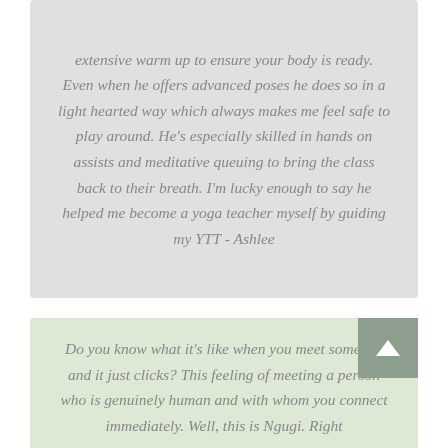extensive warm up to ensure your body is ready. Even when he offers advanced poses he does so in a light hearted way which always makes me feel safe to play around. He's especially skilled in hands on assists and meditative queuing to bring the class back to their breath. I'm lucky enough to say he helped me become a yoga teacher myself by guiding my YTT - Ashlee
Do you know what it's like when you meet someone and it just clicks? This feeling of meeting a person who is genuinely human and with whom you connect immediately. Well, this is Ngugi. Right